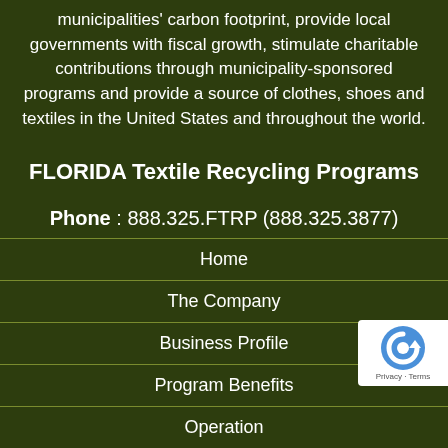municipalities' carbon footprint, provide local governments with fiscal growth, stimulate charitable contributions through municipality-sponsored programs and provide a source of clothes, shoes and textiles in the United States and throughout the world.
FLORIDA Textile Recycling Programs
Phone : 888.325.FTRP (888.325.3877)
Email: Info@TextilePrograms.com
Home
The Company
Business Profile
Program Benefits
Operation